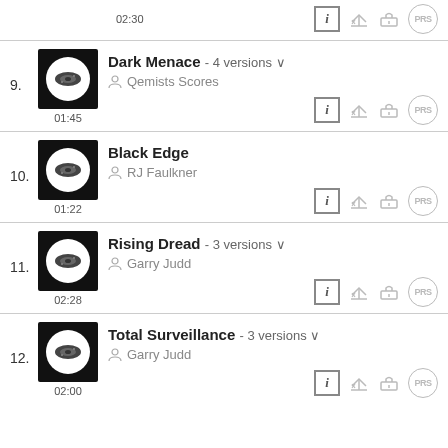02:30 [icons row - top partial track]
9. Dark Menace - 4 versions, Qemists Scores, 01:45
10. Black Edge, RJ Faulkner, 01:22
11. Rising Dread - 3 versions, Garry Judd, 02:28
12. Total Surveillance - 3 versions, Garry Judd, 02:00